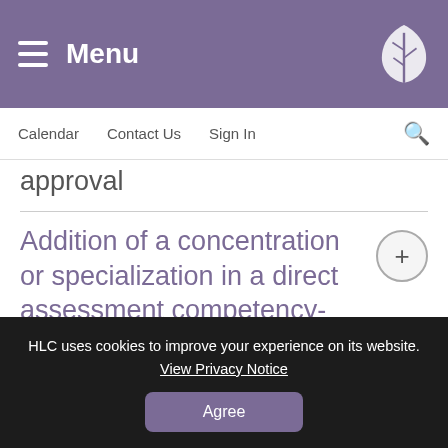Menu
Calendar   Contact Us   Sign In
approval
Addition of a concentration or specialization in a direct assessment competency-based education program
HLC uses cookies to improve your experience on its website. View Privacy Notice
Agree